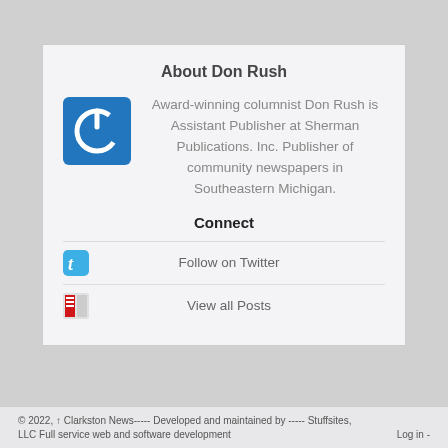About Don Rush
[Figure (logo): Blue square icon with white power/on button symbol]
Award-winning columnist Don Rush is Assistant Publisher at Sherman Publications. Inc. Publisher of community newspapers in Southeastern Michigan.
Connect
Follow on Twitter
View all Posts
© 2022, ↑ Clarkston News----- Developed and maintained by ----- Stuffsites, LLC Full service web and software development    Log in -